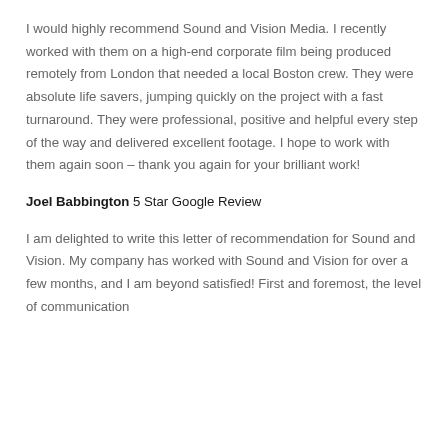I would highly recommend Sound and Vision Media. I recently worked with them on a high-end corporate film being produced remotely from London that needed a local Boston crew. They were absolute life savers, jumping quickly on the project with a fast turnaround. They were professional, positive and helpful every step of the way and delivered excellent footage. I hope to work with them again soon – thank you again for your brilliant work!
Joel Babbington 5 Star Google Review
I am delighted to write this letter of recommendation for Sound and Vision. My company has worked with Sound and Vision for over a few months, and I am beyond satisfied! First and foremost, the level of communication